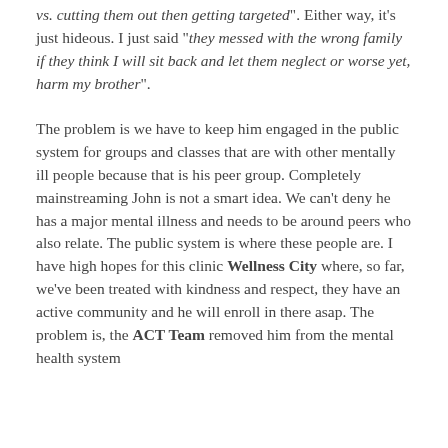vs. cutting them out then getting targeted". Either way, it’s just hideous.  I just said “they messed with the wrong family if they think I will sit back and let them neglect or worse yet, harm my brother”.
The problem is we have to keep him engaged in the public system for groups and classes that are with other mentally ill people because that is his peer group.  Completely mainstreaming John is not a smart idea.  We can’t deny he has a major mental illness and needs to be around peers who also relate.  The public system is where these people are.  I have high hopes for this clinic Wellness City where, so far, we’ve been treated with kindness and respect, they have an active community and he will enroll in there asap.  The problem is, the ACT Team removed him from the mental health system